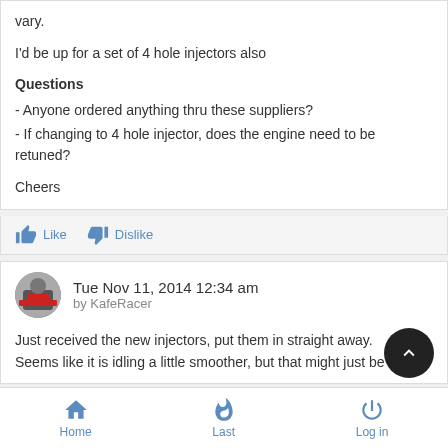vary.
I'd be up for a set of 4 hole injectors also
Questions
- Anyone ordered anything thru these suppliers?
- If changing to 4 hole injector, does the engine need to be retuned?
Cheers
Like  Dislike
Tue Nov 11, 2014 12:34 am
by KafeRacer
Just received the new injectors, put them in straight away. Seems like it is idling a little smoother, but that might just be my
Home  Last  Log in